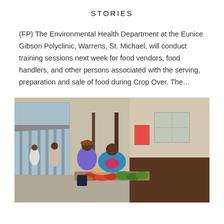STORIES
(FP) The Environmental Health Department at the Eunice Gibson Polyclinic, Warrens, St. Michael, will conduct training sessions next week for food vendors, food handlers, and other persons associated with the serving, preparation and sale of food during Crop Over. The…
[Figure (photo): Outdoor street market scene showing food vendors with produce displayed on tables along a sidewalk, with a woman in a blue top seated behind the stall and pedestrians and buildings in the background.]